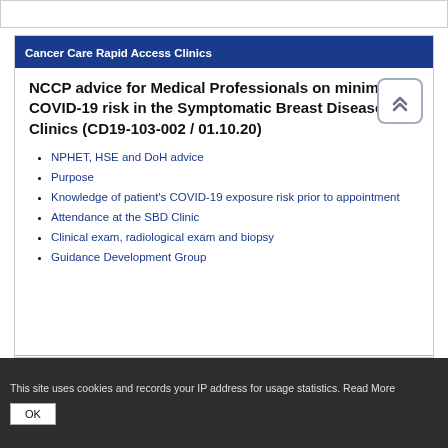Cancer Care Rapid Access Clinics
NCCP advice for Medical Professionals on minimising COVID-19 risk in the Symptomatic Breast Disease Clinics (CD19-103-002 / 01.10.20)
NPHET, HSE and DoH advice
Purpose
Knowledge of patient's COVID-19 exposure risk prior to appointment
Attendance at the SBD Clinic
Clinical exam, radiological exam and biopsy
Guidance Development Group
This site uses cookies and records your IP address for usage statistics. Read More